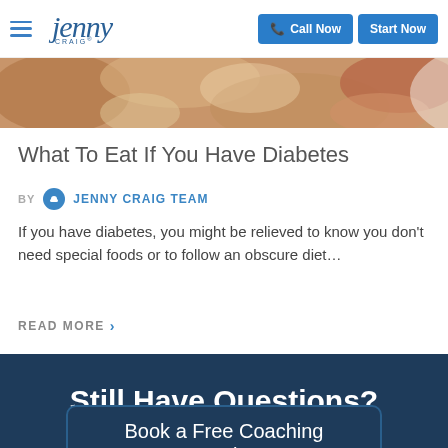Jenny Craig | Call Now | Start Now
[Figure (photo): Cropped food photo showing nuts and other ingredients on a plate]
What To Eat If You Have Diabetes
BY JENNY CRAIG TEAM
If you have diabetes, you might be relieved to know you don't need special foods or to follow an obscure diet...
READ MORE >
Still Have Questions?
Book a Free Coaching Session